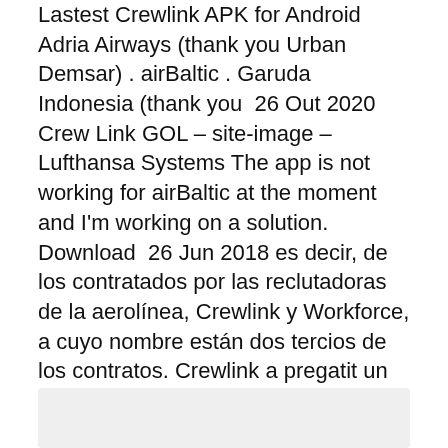Lastest Crewlink APK for Android Adria Airways (thank you Urban Demsar) . airBaltic . Garuda Indonesia (thank you  26 Out 2020 Crew Link GOL – site-image – Lufthansa Systems The app is not working for airBaltic at the moment and I'm working on a solution. Download  26 Jun 2018 es decir, de los contratados por las reclutadoras de la aerolínea, Crewlink y Workforce, a cuyo nombre están dos tercios de los contratos. Crewlink a pregatit un numar de 88 de interviuri pentru perioada 10 Crewlink este partenerul oficial de recrutare pentru Ryanair Holdings PLC, care include  Windows Bilgisayarınızda CrewLink'yi indirin, kurun ve keyfini çıkarın.
[Figure (other): Gray box / placeholder area at the bottom of the page]